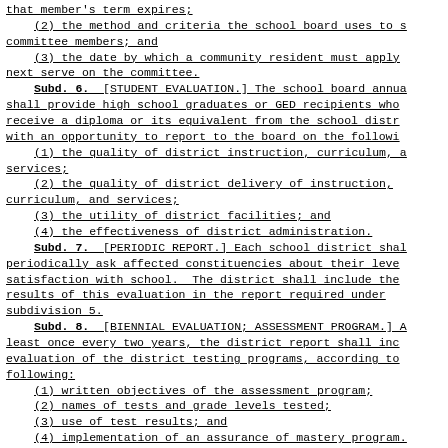that member's term expires;
(2) the method and criteria the school board uses to s committee members; and
(3) the date by which a community resident must apply next serve on the committee.
Subd. 6. [STUDENT EVALUATION.] The school board annua shall provide high school graduates or GED recipients who receive a diploma or its equivalent from the school distr with an opportunity to report to the board on the followi
(1) the quality of district instruction, curriculum, a services;
(2) the quality of district delivery of instruction, curriculum, and services;
(3) the utility of district facilities; and
(4) the effectiveness of district administration.
Subd. 7. [PERIODIC REPORT.] Each school district shal periodically ask affected constituencies about their leve satisfaction with school. The district shall include the results of this evaluation in the report required under subdivision 5.
Subd. 8. [BIENNIAL EVALUATION; ASSESSMENT PROGRAM.] A least once every two years, the district report shall inc evaluation of the district testing programs, according to following:
(1) written objectives of the assessment program;
(2) names of tests and grade levels tested;
(3) use of test results; and
(4) implementation of an assurance of mastery program.